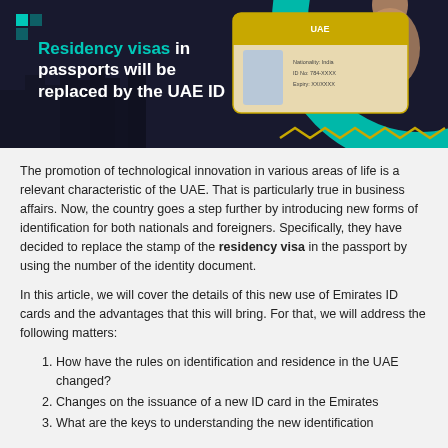[Figure (illustration): Dark banner with teal accent circle, UAE ID card image on right, white logo icon top-left, and bold white/teal text: 'Residency visas in passports will be replaced by the UAE ID']
The promotion of technological innovation in various areas of life is a relevant characteristic of the UAE. That is particularly true in business affairs. Now, the country goes a step further by introducing new forms of identification for both nationals and foreigners. Specifically, they have decided to replace the stamp of the residency visa in the passport by using the number of the identity document.
In this article, we will cover the details of this new use of Emirates ID cards and the advantages that this will bring. For that, we will address the following matters:
How have the rules on identification and residence in the UAE changed?
Changes on the issuance of a new ID card in the Emirates
What are the keys to understanding the new identification